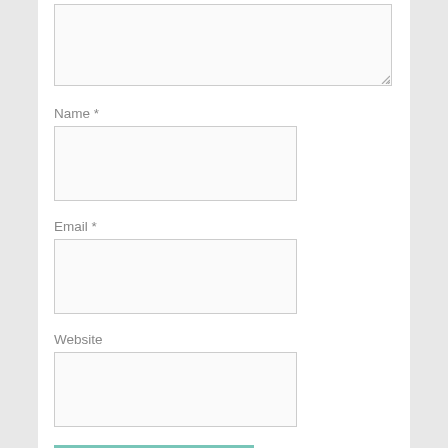[Figure (screenshot): Comment form textarea (top portion, partially visible, with resize handle at bottom-right)]
Name *
[Figure (screenshot): Name input field, empty text box]
Email *
[Figure (screenshot): Email input field, empty text box]
Website
[Figure (screenshot): Website input field, empty text box]
Post Comment